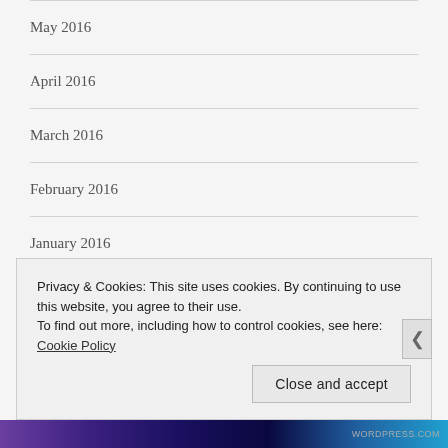May 2016
April 2016
March 2016
February 2016
January 2016
December 2015
November 2015
Privacy & Cookies: This site uses cookies. By continuing to use this website, you agree to their use.
To find out more, including how to control cookies, see here: Cookie Policy
WORDPRESS.COM